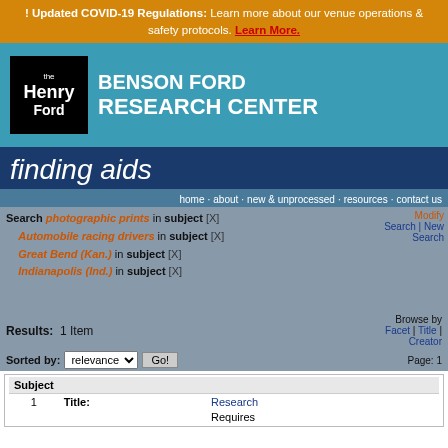! Updated COVID-19 Regulations: Learn more about our venue operations & safety protocols. Learn More.
[Figure (logo): The Henry Ford logo — black square with white text reading 'the Henry Ford']
BENSON FORD RESEARCH CENTER
finding aids
home · about · new & unprocessed · resources · contact us
Search: photographic prints in subject [X] Automobile racing drivers in subject [X] Great Bend (Kan.) in subject [X] Indianapolis (Ind.) in subject [X]
Modify Search | New Search
Browse by: Facet | Title | Creator
Results: 1 Item
Page: 1
Sorted by: relevance Go!
| Subject |  |  |
| --- | --- | --- |
| 1 | Title: | Research... |
|  |  | Requires... |